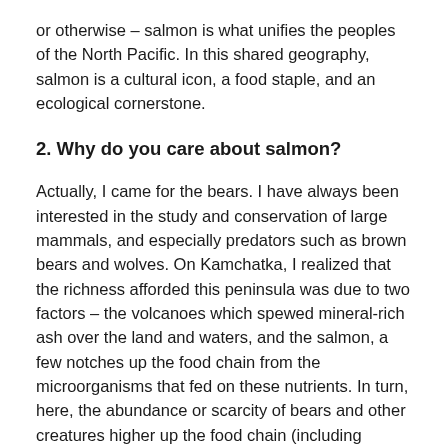or otherwise – salmon is what unifies the peoples of the North Pacific. In this shared geography, salmon is a cultural icon, a food staple, and an ecological cornerstone.
2. Why do you care about salmon?
Actually, I came for the bears. I have always been interested in the study and conservation of large mammals, and especially predators such as brown bears and wolves. On Kamchatka, I realized that the richness afforded this peninsula was due to two factors – the volcanoes which spewed mineral-rich ash over the land and waters, and the salmon, a few notches up the food chain from the microorganisms that fed on these nutrients. In turn, here, the abundance or scarcity of bears and other creatures higher up the food chain (including humans) depends entirely on the abundance or scarcity of salmon. Watching the devastation that was happening to otherwise pristino salmon rivers from poaching, and finding that, as a